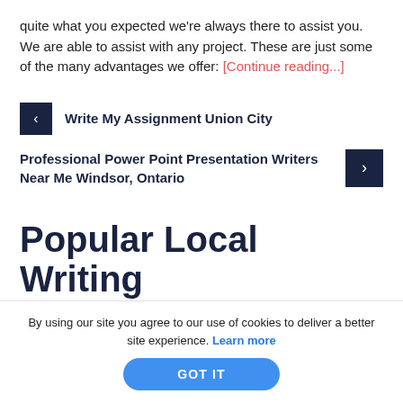quite what you expected we're always there to assist you. We are able to assist with any project. These are just some of the many advantages we offer: [Continue reading...]
Write My Assignment Union City
Professional Power Point Presentation Writers Near Me Windsor, Ontario
Popular Local Writing
By using our site you agree to our use of cookies to deliver a better site experience. Learn more